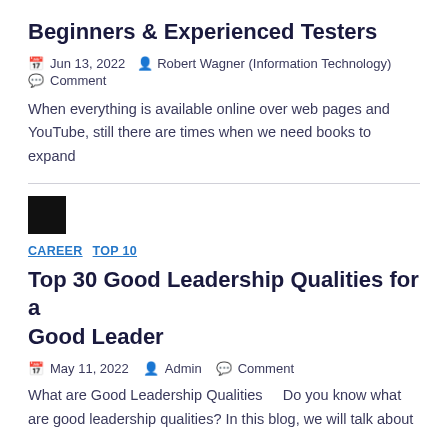Beginners & Experienced Testers
Jun 13, 2022  Robert Wagner (Information Technology)  Comment
When everything is available online over web pages and YouTube, still there are times when we need books to expand
[Figure (photo): Small black thumbnail image]
CAREER  TOP 10
Top 30 Good Leadership Qualities for a Good Leader
May 11, 2022  Admin  Comment
What are Good Leadership Qualities    Do you know what are good leadership qualities? In this blog, we will talk about